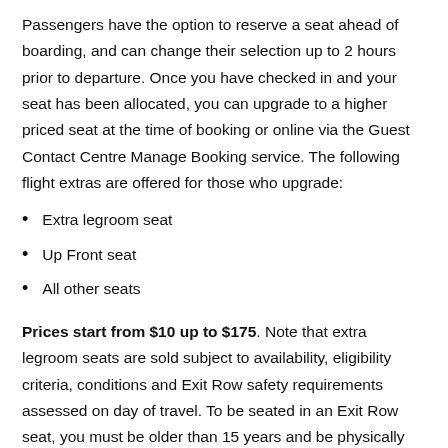Passengers have the option to reserve a seat ahead of boarding, and can change their selection up to 2 hours prior to departure. Once you have checked in and your seat has been allocated, you can upgrade to a higher priced seat at the time of booking or online via the Guest Contact Centre Manage Booking service. The following flight extras are offered for those who upgrade:
Extra legroom seat
Up Front seat
All other seats
Prices start from $10 up to $175. Note that extra legroom seats are sold subject to availability, eligibility criteria, conditions and Exit Row safety requirements assessed on day of travel. To be seated in an Exit Row seat, you must be older than 15 years and be physically capable of assisting the crew in the event of an emergency.